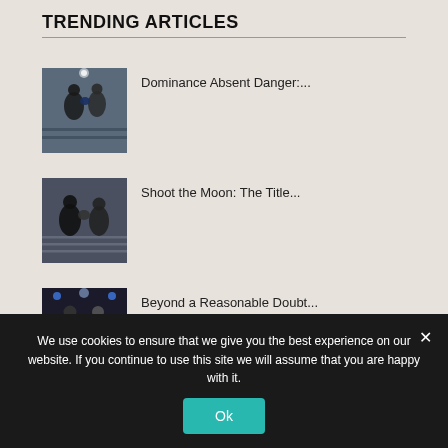TRENDING ARTICLES
Dominance Absent Danger:...
Shoot the Moon: The Title...
Beyond a Reasonable Doubt...
We use cookies to ensure that we give you the best experience on our website. If you continue to use this site we will assume that you are happy with it.